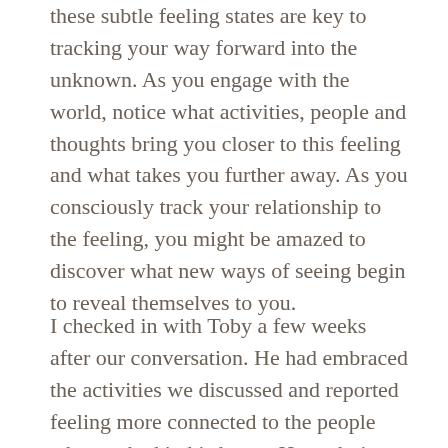these subtle feeling states are key to tracking your way forward into the unknown. As you engage with the world, notice what activities, people and thoughts bring you closer to this feeling and what takes you further away. As you consciously track your relationship to the feeling, you might be amazed to discover what new ways of seeing begin to reveal themselves to you.

I checked in with Toby a few weeks after our conversation. He had embraced the activities we discussed and reported feeling more connected to the people who worked in his home. He took time to engage them in conversation and even took his children